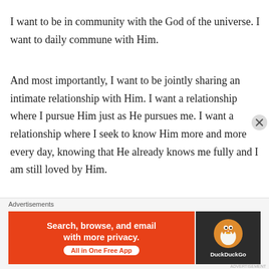I want to be in community with the God of the universe. I want to daily commune with Him.
And most importantly, I want to be jointly sharing an intimate relationship with Him. I want a relationship where I pursue Him just as He pursues me. I want a relationship where I seek to know Him more and more every day, knowing that He already knows me fully and I am still loved by Him.
That’s what I want — koinonia, and I’m willing to work for it.
Advertisements
[Figure (other): DuckDuckGo advertisement banner: orange left section with text 'Search, browse, and email with more privacy. All in One Free App' and dark right section with DuckDuckGo duck logo and brand name.]